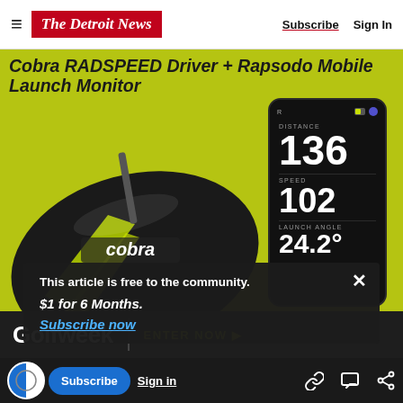≡  The Detroit News    Subscribe  Sign In
[Figure (photo): Cobra RADSPEED Driver golf club head (black and yellow-green) alongside a smartphone showing the Rapsodo Mobile Launch Monitor app with readings: Distance 136, Speed 102, Launch Angle 24.2°, on a yellow-green background]
Cobra RADSPEED Driver + Rapsodo Mobile Launch Monitor
This article is free to the community.
$1 for 6 Months.
Subscribe now
[Figure (logo): Golfweek logo in white text on dark background banner, with ENTER NOW ▶ text in yellow-green]
Subscribe  Sign in  [link icon] [chat icon] [share icon]